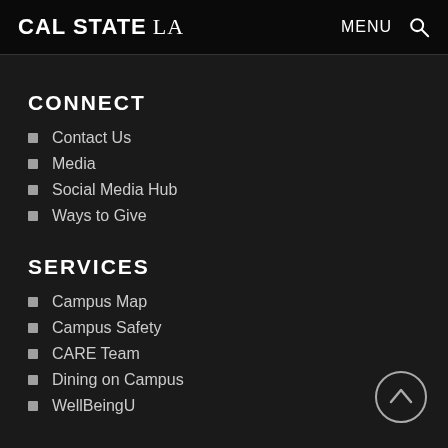CAL STATE LA  MENU
CONNECT
Contact Us
Media
Social Media Hub
Ways to Give
SERVICES
Campus Map
Campus Safety
CARE Team
Dining on Campus
WellBeingU